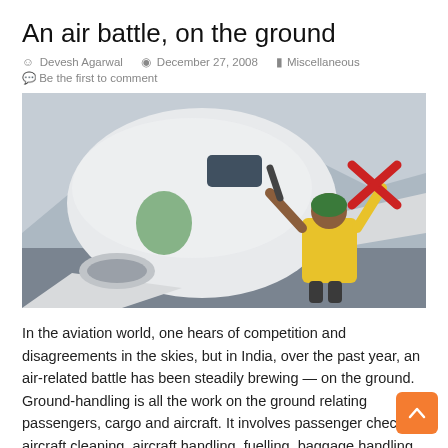An air battle, on the ground
Devesh Agarwal   December 27, 2008   Miscellaneous
Be the first to comment
[Figure (photo): Ground crew member in yellow vest holding red crossing wands in front of a commercial aircraft nose on a tarmac]
In the aviation world, one hears of competition and disagreements in the skies, but in India, over the past year, an air-related battle has been steadily brewing — on the ground. Ground-handling is all the work on the ground relating passengers, cargo and aircraft. It involves passenger check-in, aircraft cleaning, aircraft handling, fuelling, baggage handling,